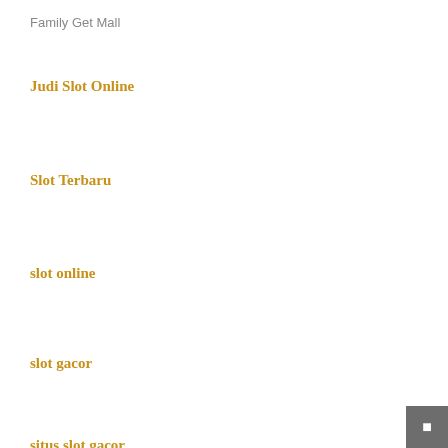Family Get Mall
Judi Slot Online
Slot Terbaru
slot online
slot gacor
situs slot gacor